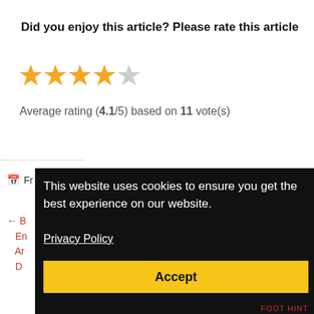Did you enjoy this article? Please rate this article
[Figure (other): Star rating widget showing 4 filled orange stars and 1 empty grey star]
Average rating (4.1/5) based on 11 vote(s)
Fr
← B
En
Ar
D
This website uses cookies to ensure you get the best experience on our website.
Privacy Policy
Accept
FOOT HINT